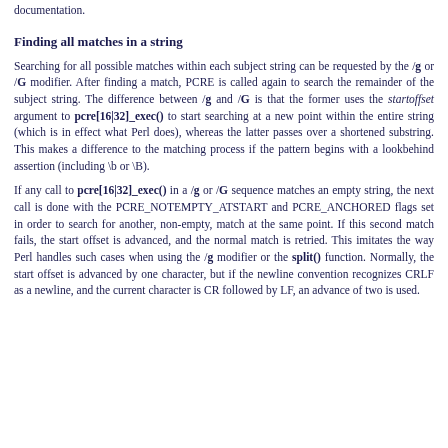documentation.
Finding all matches in a string
Searching for all possible matches within each subject string can be requested by the /g or /G modifier. After finding a match, PCRE is called again to search the remainder of the subject string. The difference between /g and /G is that the former uses the startoffset argument to pcre[16|32]_exec() to start searching at a new point within the entire string (which is in effect what Perl does), whereas the latter passes over a shortened substring. This makes a difference to the matching process if the pattern begins with a lookbehind assertion (including \b or \B).
If any call to pcre[16|32]_exec() in a /g or /G sequence matches an empty string, the next call is done with the PCRE_NOTEMPTY_ATSTART and PCRE_ANCHORED flags set in order to search for another, non-empty, match at the same point. If this second match fails, the start offset is advanced, and the normal match is retried. This imitates the way Perl handles such cases when using the /g modifier or the split() function. Normally, the start offset is advanced by one character, but if the newline convention recognizes CRLF as a newline, and the current character is CR followed by LF, an advance of two is used.